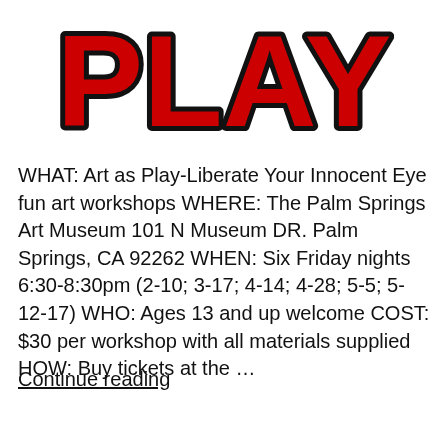[Figure (illustration): Large bold red text reading 'PLAY' with black outline and white shadow/stroke effect, styled as a comic/graffiti logo]
WHAT: Art as Play-Liberate Your Innocent Eye fun art workshops WHERE: The Palm Springs Art Museum 101 N Museum DR. Palm Springs, CA 92262 WHEN: Six Friday nights 6:30-8:30pm (2-10; 3-17; 4-14; 4-28; 5-5; 5-12-17) WHO: Ages 13 and up welcome COST: $30 per workshop with all materials supplied HOW: Buy tickets at the ...
Continue reading